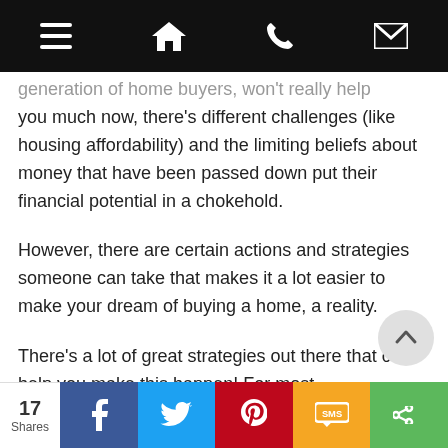[navigation bar with menu, home, phone, mail icons]
generation of home buyers, won't really help you much now, there's different challenges (like housing affordability) and the limiting beliefs about money that have been passed down put their financial potential in a chokehold.
However, there are certain actions and strategies someone can take that makes it a lot easier to make your dream of buying a home, a reality.
There's a lot of great strategies out there that can help you make this happen! For most
17 Shares | Facebook | Twitter | Pinterest | SMS | Share